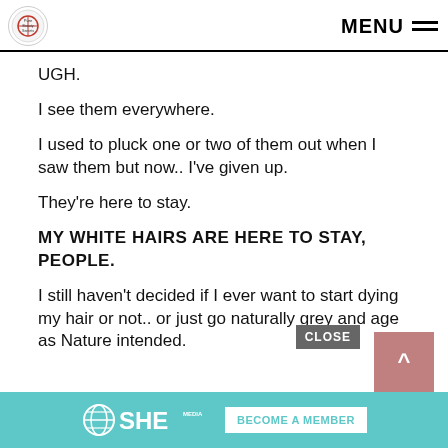MENU
UGH.
I see them everywhere.
I used to pluck one or two of them out when I saw them but now.. I've given up.
They're here to stay.
MY WHITE HAIRS ARE HERE TO STAY, PEOPLE.
I still haven't decided if I ever want to start dying my hair or not.. or just go naturally grey and age as Nature intended.
[Figure (logo): SHE Media logo with BECOME A MEMBER button on teal background]